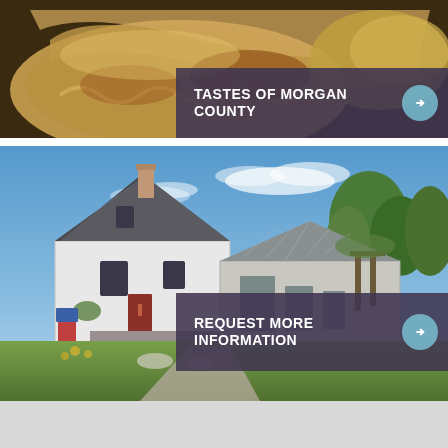[Figure (photo): Close-up photo of baked pastries or hand pies on a dark pan, showing golden-brown flaky crust with filling visible]
[Figure (infographic): Semi-transparent dark purple banner overlay with white bold text reading 'TASTES OF MORGAN COUNTY' and a light blue circular arrow button on the right]
[Figure (photo): Exterior photo of a white building with steep peaked roof and chimney, resembling a winery or bed and breakfast, surrounded by trees under a blue sky with wispy clouds. A driveway leads to the entrance.]
[Figure (infographic): Semi-transparent dark purple banner overlay with white bold text reading 'REQUEST MORE INFORMATION' and a light blue circular arrow button on the right]